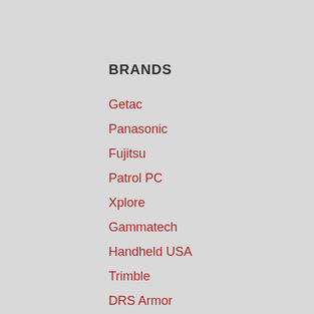BRANDS
Getac
Panasonic
Fujitsu
Patrol PC
Xplore
Gammatech
Handheld USA
Trimble
DRS Armor